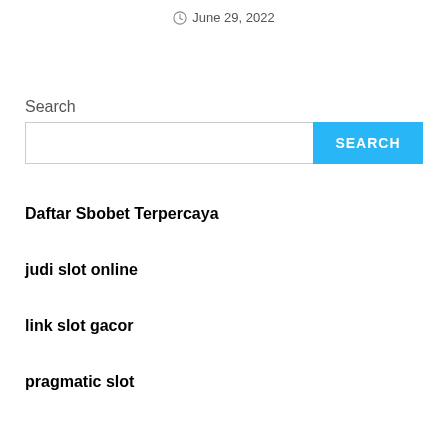June 29, 2022
Search
Daftar Sbobet Terpercaya
judi slot online
link slot gacor
pragmatic slot